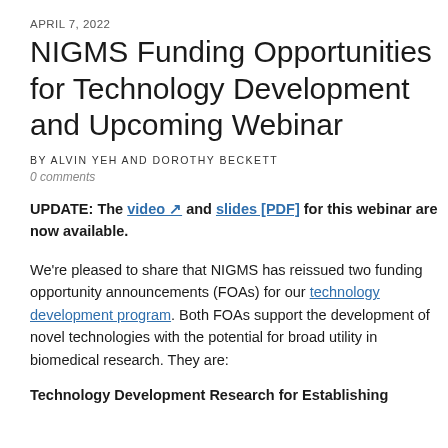APRIL 7, 2022
NIGMS Funding Opportunities for Technology Development and Upcoming Webinar
BY ALVIN YEH AND DOROTHY BECKETT
0 comments
UPDATE: The video and slides [PDF] for this webinar are now available.
We're pleased to share that NIGMS has reissued two funding opportunity announcements (FOAs) for our technology development program. Both FOAs support the development of novel technologies with the potential for broad utility in biomedical research. They are:
Technology Development Research for Establishing